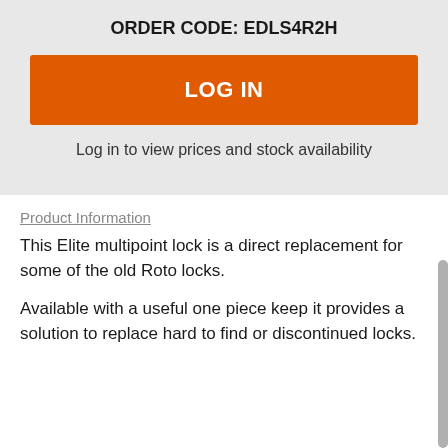ORDER CODE: EDLS4R2H
[Figure (other): Orange LOG IN button]
Log in to view prices and stock availability
Product Information
This Elite multipoint lock is a direct replacement for some of the old Roto locks.
Available with a useful one piece keep it provides a solution to replace hard to find or discontinued locks.